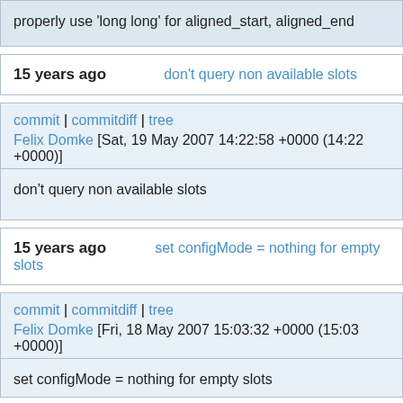properly use 'long long' for aligned_start, aligned_end
15 years ago  don't query non available slots
commit | commitdiff | tree
Felix Domke [Sat, 19 May 2007 14:22:58 +0000 (14:22 +0000)]
don't query non available slots
15 years ago  set configMode = nothing for empty slots
commit | commitdiff | tree
Felix Domke [Fri, 18 May 2007 15:03:32 +0000 (15:03 +0000)]
set configMode = nothing for empty slots